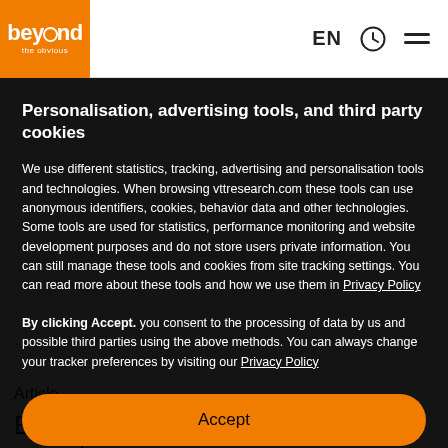beyond the obvious | EN
Personalisation, advertising tools, and third party cookies
We use different statistics, tracking, advertising and personalisation tools and technologies. When browsing vttresearch.com these tools can use anonymous identifiers, cookies, behavior data and other technologies. Some tools are used for statistics, performance monitoring and website development purposes and do not store users private information. You can still manage these tools and cookies from site tracking settings. You can read more about these tools and how we use them in Privacy Policy
By clicking Accept. you consent to the processing of data by us and possible third parties using the above methods. You can always change your tracker preferences by visiting our Privacy Policy
Accept
Article
Blue-green algae test draws attention